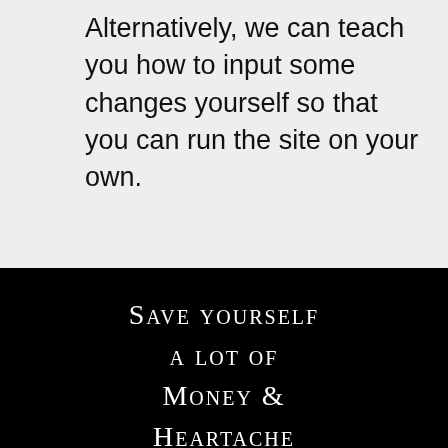Alternatively, we can teach you how to input some changes yourself so that you can run the site on your own.
Save yourself a lot of Money & Heartache